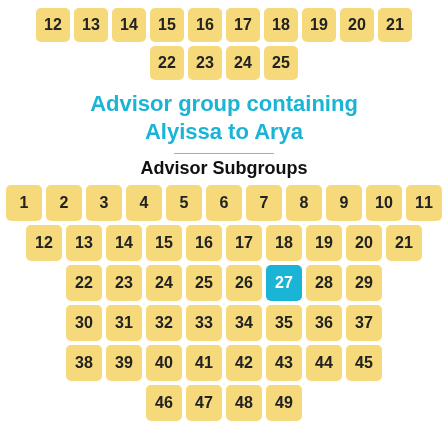[Figure (other): Top partial grid showing numbered cells 12-21 and 22-25 in yellow squares]
Advisor group containing Alyissa to Arya
Advisor Subgroups
[Figure (other): Grid of numbered subgroup cells 1-49, with cell 27 highlighted in blue]